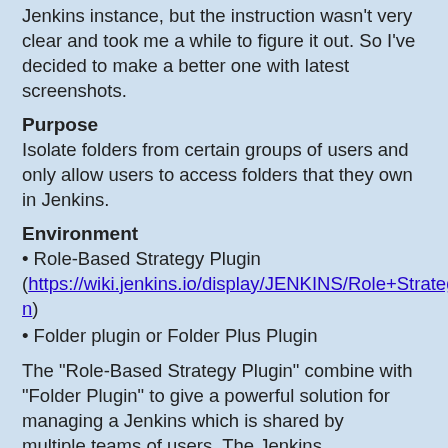Jenkins instance, but the instruction wasn't very clear and took me a while to figure it out. So I've decided to make a better one with latest screenshots.
Purpose
Isolate folders from certain groups of users and only allow users to access folders that they own in Jenkins.
Environment
• Role-Based Strategy Plugin (https://wiki.jenkins.io/display/JENKINS/Role+Strategy+Plugin)
• Folder plugin or Folder Plus Plugin
The "Role-Based Strategy Plugin" combine with "Folder Plugin" to give a powerful solution for managing a Jenkins which is shared by multiple teams of users. The Jenkins administrator can create folders for each of the teams and then create groups in those folders for each of the roles that team members can have. By delegating the management of the group membership (but not the management of the roles